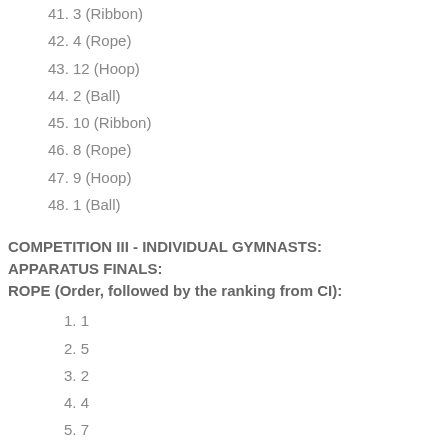41. 3 (Ribbon)
42. 4 (Rope)
43. 12 (Hoop)
44. 2 (Ball)
45. 10 (Ribbon)
46. 8 (Rope)
47. 9 (Hoop)
48. 1 (Ball)
COMPETITION III - INDIVIDUAL GYMNASTS: APPARATUS FINALS:
ROPE (Order, followed by the ranking from CI):
1. 1
2. 5
3. 2
4. 4
5. 7
6. 3
7. 6